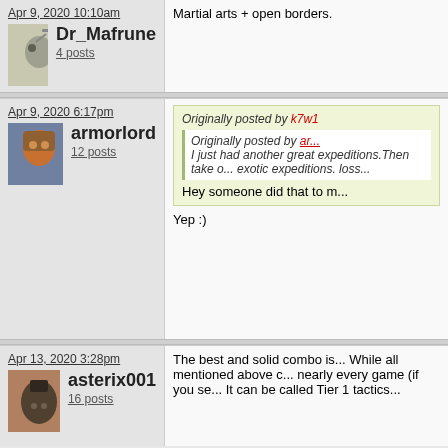Apr 9, 2020 10:10am
Dr_Mafrune
4 posts
Martial arts + open borders.
Apr 9, 2020 6:17pm
armorlord
12 posts
Originally posted by k7w1
Originally posted by ar...
I just had another great expeditions.Then take o... exotic expeditions. loss...
Hey someone did that to m...
Yep :)
Apr 13, 2020 3:28pm
asterix001
16 posts
The best and solid combo is... While all mentioned above c... nearly every game (if you se... It can be called Tier 1 tactics...